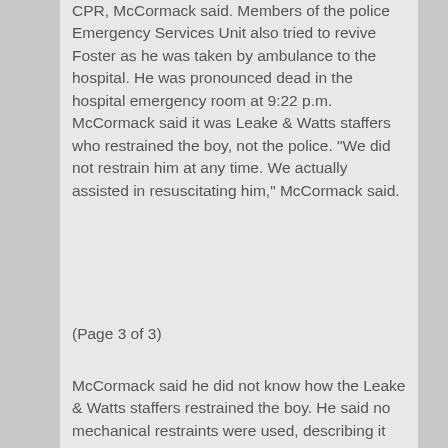CPR, McCormack said. Members of the police Emergency Services Unit also tried to revive Foster as he was taken by ambulance to the hospital. He was pronounced dead in the hospital emergency room at 9:22 p.m. McCormack said it was Leake & Watts staffers who restrained the boy, not the police. "We did not restrain him at any time. We actually assisted in resuscitating him," McCormack said.
(Page 3 of 3)
McCormack said he did not know how the Leake & Watts staffers restrained the boy. He said no mechanical restraints were used, describing it as